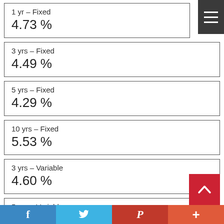1 yr – Fixed
4.73 %
3 yrs – Fixed
4.49 %
5 yrs – Fixed
4.29 %
10 yrs – Fixed
5.53 %
3 yrs – Variable
4.60 %
5 yrs – Variable
3.58 %
[Figure (infographic): Social sharing bar with Facebook, Twitter, Pinterest, and plus buttons at bottom of page, and a red back-to-top button]